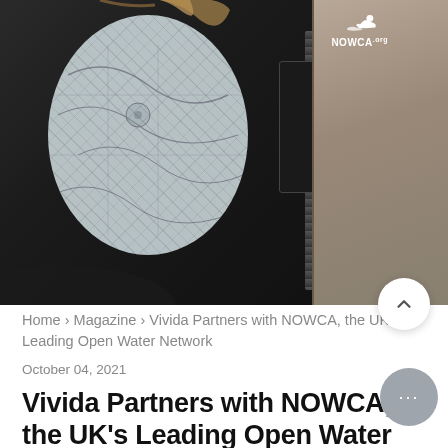[Figure (photo): Photo of a person wearing a black wetsuit/jacket with a map-print interior lining visible, NOWCA.org logo on the chest, and a zipper pocket. Rocky coastal background on the right side.]
Home › Magazine › Vivida Partners with NOWCA, the UK's Leading Open Water Network
October 04, 2021
Vivida Partners with NOWCA, the UK's Leading Open Water Netwo